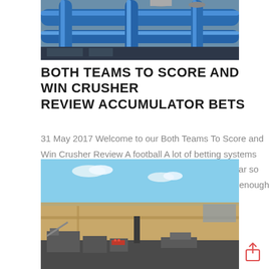[Figure (photo): Industrial blue pipes and machinery at top of page]
BOTH TEAMS TO SCORE AND WIN CRUSHER REVIEW ACCUMULATOR BETS
31 May 2017 Welcome to our Both Teams To Score and Win Crusher Review A football A lot of betting systems cost approximately £50 £100 so we think this So far so good but there are a couple of issues with finding enough nbsp …
[Figure (photo): Aerial view of an industrial facility with machinery and open land under blue sky]
[Figure (other): Share/upload icon in bottom right corner]